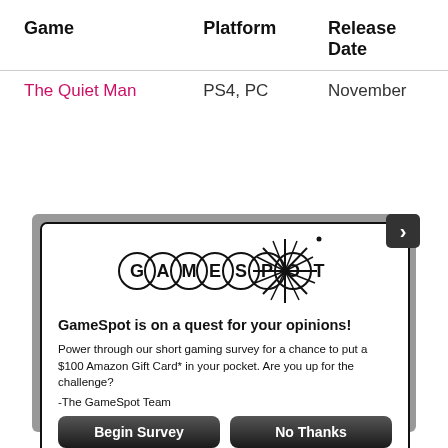| Game | Platform | Release Date |
| --- | --- | --- |
| The Quiet Man | PS4, PC | November [1] |
| [partial row] | PS4, Xbox | November |
[Figure (logo): GameSpot logo with spiky star burst design]
GameSpot is on a quest for your opinions!
Power through our short gaming survey for a chance to put a $100 Amazon Gift Card* in your pocket.  Are you up for the challenge?
-The GameSpot Team
Begin Survey | No Thanks
When you reply to this survey, you acknowledge that Red Ventures collects your personal data in accordance with the Red Ventures privacy policy
For sweepstakes rules, see here.
Contact us about this survey.